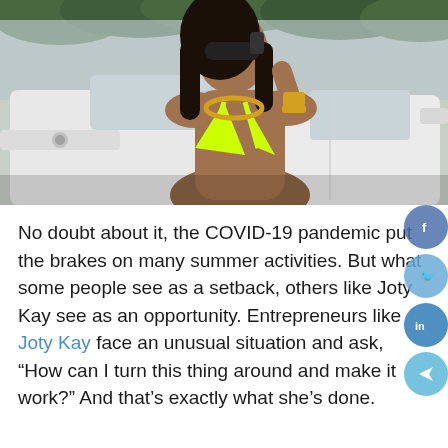[Figure (photo): Woman in neon yellow/green bikini top with gold chain necklace and sunglasses, standing in front of a white luxury SUV (Mercedes G-Wagon) outdoors with trees in background]
No doubt about it, the COVID-19 pandemic put the brakes on many summer activities. But what some people see as a setback, others like Joty Kay see as an opportunity. Entrepreneurs like Joty Kay face an unusual situation and ask, “How can I turn this thing around and make it work?” And that’s exactly what she’s done.